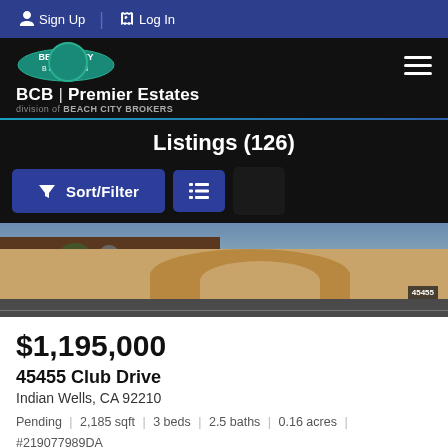Sign Up | Log In
[Figure (logo): Beach City Brokers logo with BCB Premier Estates text and hamburger menu icon]
Listings (126)
Sort/Filter [list view button]
[Figure (photo): Exterior photo of a property at 45455 Club Drive showing driveway with decorative concrete, landscaping, and road]
$1,195,000
45455 Club Drive
Indian Wells, CA 92210
Pending | 2,185 sqft | 3 beds | 2.5 baths | 0.16 acres | #219077989DA